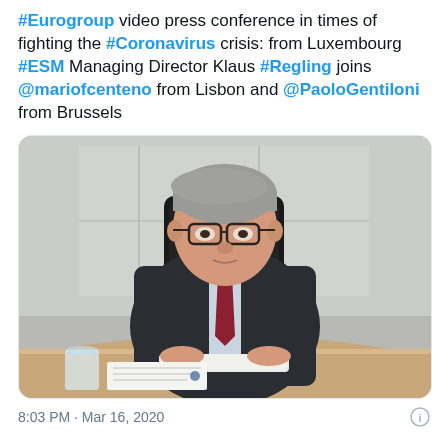#Eurogroup video press conference in times of fighting the #Coronavirus crisis: from Luxembourg #ESM Managing Director Klaus #Regling joins @mariofcenteno from Lisbon and @PaoloGentiloni from Brussels
[Figure (photo): A man in a dark suit with a burgundy tie, wearing glasses, seated at a table reading papers. He appears to be in a conference room with a glass partition behind him.]
8:03 PM · Mar 16, 2020